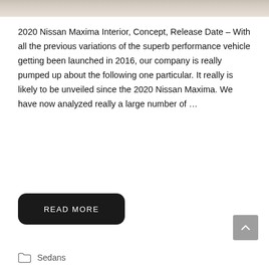[Figure (photo): Partial view of a car interior or exterior, cropped at top of page]
2020 Nissan Maxima Interior, Concept, Release Date – With all the previous variations of the superb performance vehicle getting been launched in 2016, our company is really pumped up about the following one particular. It really is likely to be unveiled since the 2020 Nissan Maxima. We have now analyzed really a large number of …
READ MORE
Sedans